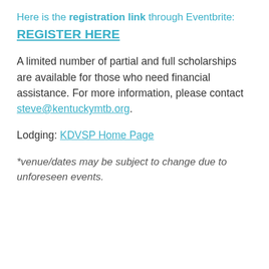Here is the registration link through Eventbrite:
REGISTER HERE
A limited number of partial and full scholarships are available for those who need financial assistance. For more information, please contact steve@kentuckymtb.org.
Lodging: KDVSP Home Page
*venue/dates may be subject to change due to unforeseen events.